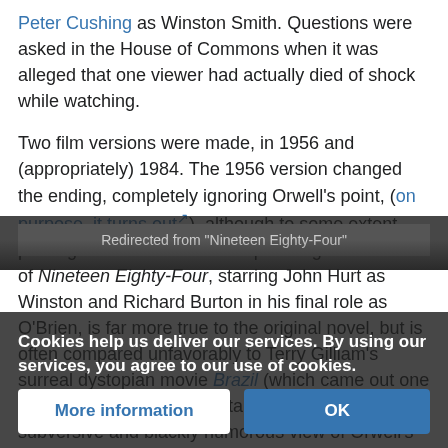Peter Cushing as Winston Smith. Questions were asked in the House of Commons when it was alleged that one viewer had actually died of shock while watching.
Two film versions were made, in 1956 and (appropriately) 1984. The 1956 version changed the ending, completely ignoring Orwell's point, (on purpose, it turns out), although to some extent proving it. The brilliant and depressing 1984 version of Nineteen Eighty-Four, starring John Hurt as Winston and Richard Burton in his final role as O'Brien, is far more true to the original novel, but is often compared unfavorably to Terry Gilliam's surreal dystopian movie Brazil (which came out one year later, in 1985), which takes a much more subversive and blackly humorous view of Orwell's themes.
Redirected from "Nineteen Eighty-Four"
Also...
World as a way of showing the perspectives of the
Cookies help us deliver our services. By using our services, you agree to our use of cookies.
More information
OK